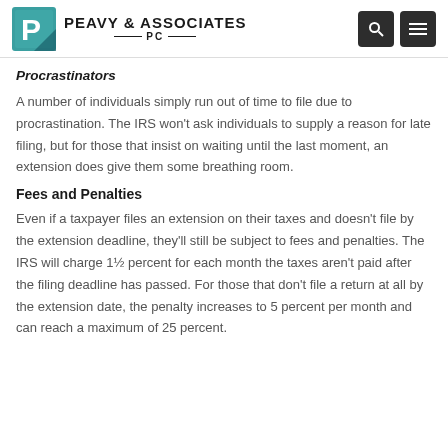PEAVY & ASSOCIATES PC
Procrastinators
A number of individuals simply run out of time to file due to procrastination. The IRS won't ask individuals to supply a reason for late filing, but for those that insist on waiting until the last moment, an extension does give them some breathing room.
Fees and Penalties
Even if a taxpayer files an extension on their taxes and doesn't file by the extension deadline, they'll still be subject to fees and penalties. The IRS will charge 1½ percent for each month the taxes aren't paid after the filing deadline has passed. For those that don't file a return at all by the extension date, the penalty increases to 5 percent per month and can reach a maximum of 25 percent.